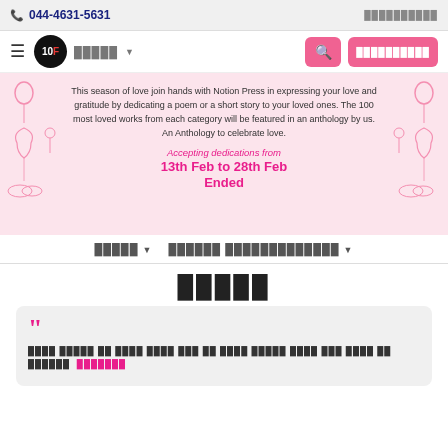044-4631-5631
This season of love join hands with Notion Press in expressing your love and gratitude by dedicating a poem or a short story to your loved ones. The 100 most loved works from each category will be featured in an anthology by us. An Anthology to celebrate love.
Accepting dedications from
13th Feb to 28th Feb
Ended
கவிதை
கவிதை கவிதை கவிதை கவிதை கவி கவிதை கவி கவிதை கவி கவிதை கவிதை